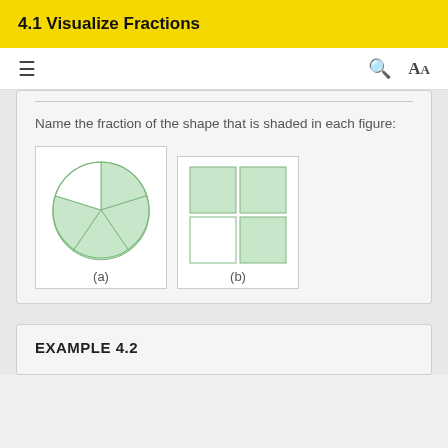4.1 Visualize Fractions
Name the fraction of the shape that is shaded in each figure:
[Figure (illustration): Two figures side by side: (a) a circle divided into 5 equal sectors with 4 shaded green and 1 unshaded, (b) a 2x2 grid of squares with 3 shaded green and 1 unshaded (bottom-left).]
EXAMPLE 4.2